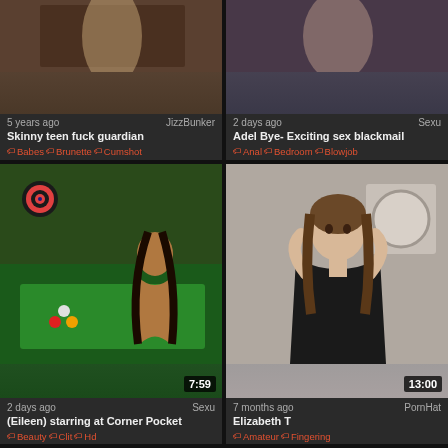[Figure (screenshot): Video thumbnail grid showing adult video website with 6 video cards in 2-column layout]
5 years ago | JizzBunker
Skinny teen fuck guardian
Babes | Brunette | Cumshot
2 days ago | Sexu
Adel Bye- Exciting sex blackmail
Anal | Bedroom | Blowjob
2 days ago | Sexu
(Eileen) starring at Corner Pocket
Beauty | Clit | Hd | Duration: 7:59
7 months ago | PornHat
Elizabeth T
Amateur | Fingering | Duration: 13:00
Duration: 10:17
Duration: 6:03